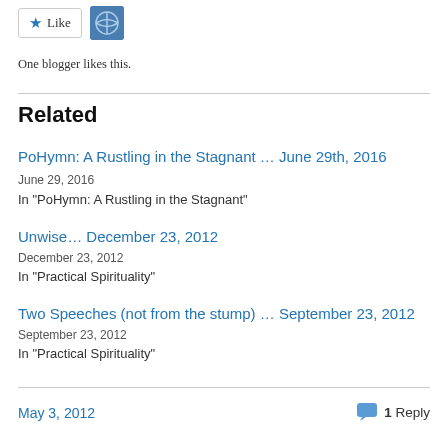[Figure (other): Like button with star icon and avatar icon]
One blogger likes this.
Related
PoHymn: A Rustling in the Stagnant … June 29th, 2016
June 29, 2016
In "PoHymn: A Rustling in the Stagnant"
Unwise… December 23, 2012
December 23, 2012
In "Practical Spirituality"
Two Speeches (not from the stump) … September 23, 2012
September 23, 2012
In "Practical Spirituality"
May 3, 2012    1 Reply